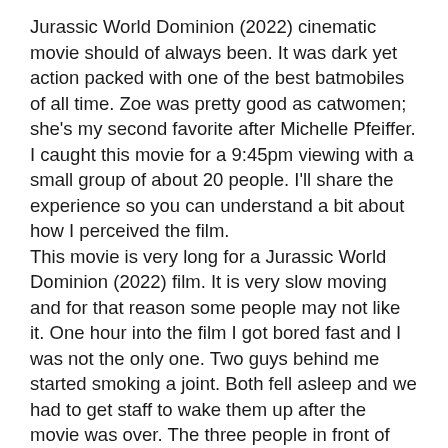Jurassic World Dominion (2022) cinematic movie should of always been. It was dark yet action packed with one of the best batmobiles of all time. Zoe was pretty good as catwomen; she's my second favorite after Michelle Pfeiffer.
I caught this movie for a 9:45pm viewing with a small group of about 20 people. I'll share the experience so you can understand a bit about how I perceived the film.
This movie is very long for a Jurassic World Dominion (2022) film. It is very slow moving and for that reason some people may not like it. One hour into the film I got bored fast and I was not the only one. Two guys behind me started smoking a joint. Both fell asleep and we had to get staff to wake them up after the movie was over. The three people in front of me fell asleep and two others to my right fell asleep (one of them snored). So literally half of the people in attendance fell asleep. I